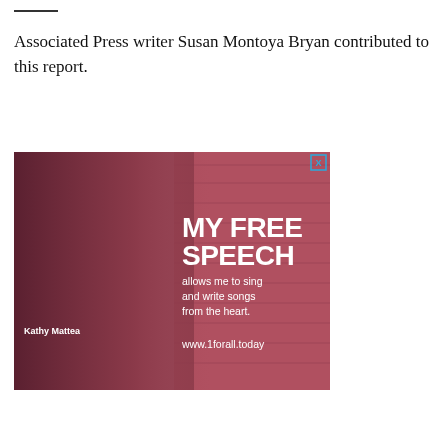Associated Press writer Susan Montoya Bryan contributed to this report.
[Figure (photo): Advertisement featuring Kathy Mattea holding a guitar against a pink/mauve-tinted wall background. Text overlay reads 'MY FREE SPEECH allows me to sing and write songs from the heart. www.1forall.today'. Close button (X) in top right corner of the ad.]